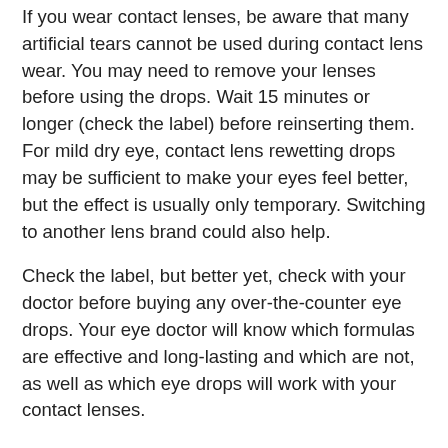If you wear contact lenses, be aware that many artificial tears cannot be used during contact lens wear. You may need to remove your lenses before using the drops. Wait 15 minutes or longer (check the label) before reinserting them. For mild dry eye, contact lens rewetting drops may be sufficient to make your eyes feel better, but the effect is usually only temporary. Switching to another lens brand could also help.
Check the label, but better yet, check with your doctor before buying any over-the-counter eye drops. Your eye doctor will know which formulas are effective and long-lasting and which are not, as well as which eye drops will work with your contact lenses.
To reduce the effects of sun, wind and dust on dry eyes, wear sunglasses when outdoors. Wraparound styles offer the best protection.
Indoors, an air cleaner can filter out dust and other particles from the air, while a humidifier adds moisture to air that’s too dry because of air conditioning or heating.